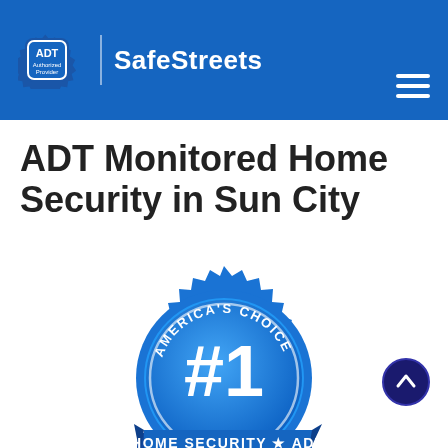ADT Authorized Provider | SafeStreets
ADT Monitored Home Security in Sun City
[Figure (logo): America's Choice #1 Home Security ADT award badge/seal in blue and white, with sawtooth edge border and ribbon banner reading HOME SECURITY ★ ADT]